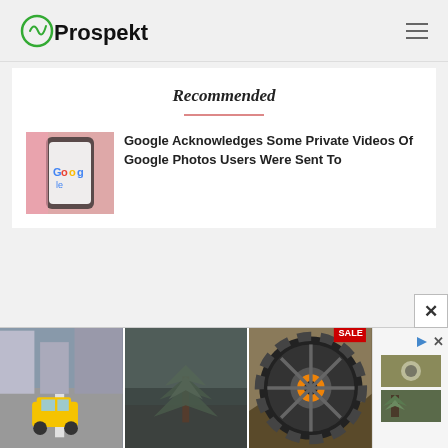Prospekt
Recommended
Google Acknowledges Some Private Videos Of Google Photos Users Were Sent To
[Figure (screenshot): Ad banner with three game/product images: taxi driving game, tree/nature scene, off-road wheel, with sidebar showing thumbnails]
[Figure (photo): Google logo on smartphone screen - thumbnail for article]